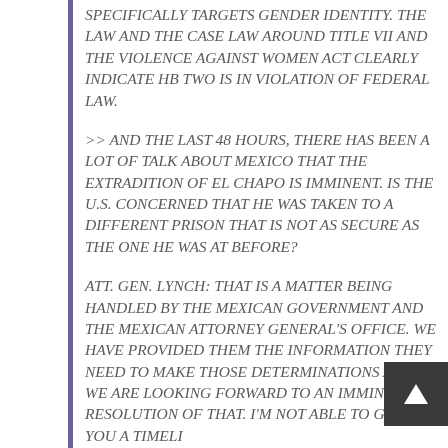SPECIFICALLY TARGETS GENDER IDENTITY. THE LAW AND THE CASE LAW AROUND TITLE VII AND THE VIOLENCE AGAINST WOMEN ACT CLEARLY INDICATE HB TWO IS IN VIOLATION OF FEDERAL LAW.
>> AND THE LAST 48 HOURS, THERE HAS BEEN A LOT OF TALK ABOUT MEXICO THAT THE EXTRADITION OF EL CHAPO IS IMMINENT. IS THE U.S. CONCERNED THAT HE WAS TAKEN TO A DIFFERENT PRISON THAT IS NOT AS SECURE AS THE ONE HE WAS AT BEFORE?
ATT. GEN. LYNCH: THAT IS A MATTER BEING HANDLED BY THE MEXICAN GOVERNMENT AND THE MEXICAN ATTORNEY GENERAL'S OFFICE. WE HAVE PROVIDED THEM THE INFORMATION THEY NEED TO MAKE THOSE DETERMINATIONS AND WE ARE LOOKING FORWARD TO AN IMMINENT RESOLUTION OF THAT. I'M NOT ABLE TO GIVE YOU A TIMELINE OR PREDICTION ON WHEN IT WOULD ACTUALLY OCCUR. HIS CONDITIONS OF CONFINEMENT ARE